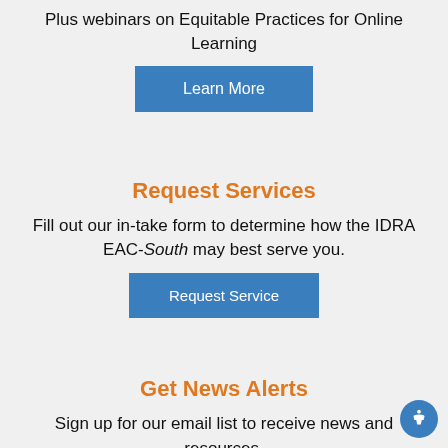Plus webinars on Equitable Practices for Online Learning
Learn More
Request Services
Fill out our in-take form to determine how the IDRA EAC-South may best serve you.
Request Service
Get News Alerts
Sign up for our email list to receive news and resources.
Subscribe Free